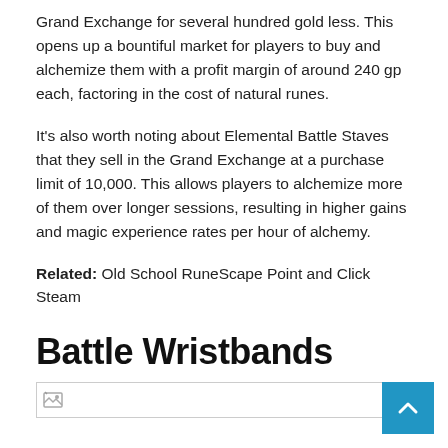Grand Exchange for several hundred gold less. This opens up a bountiful market for players to buy and alchemize them with a profit margin of around 240 gp each, factoring in the cost of natural runes.
It's also worth noting about Elemental Battle Staves that they sell in the Grand Exchange at a purchase limit of 10,000. This allows players to alchemize more of them over longer sessions, resulting in higher gains and magic experience rates per hour of alchemy.
Related: Old School RuneScape Point and Click Steam
Battle Wristbands
[Figure (other): Broken image placeholder for Battle Wristbands section]